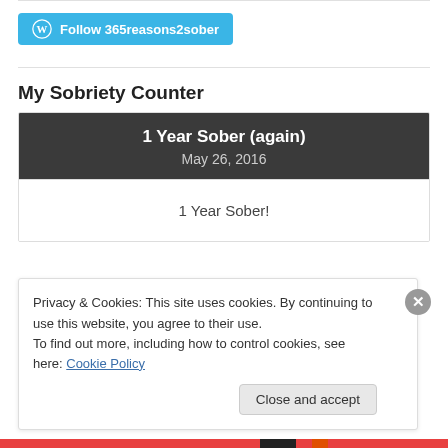[Figure (logo): WordPress Follow button: cyan/blue rounded rectangle with WordPress W icon and text 'Follow 365reasons2sober']
My Sobriety Counter
[Figure (infographic): Dark gray widget header showing '1 Year Sober (again)' and 'May 26, 2016', with white body showing '1 Year Sober!']
Privacy & Cookies: This site uses cookies. By continuing to use this website, you agree to their use.
To find out more, including how to control cookies, see here: Cookie Policy
Close and accept